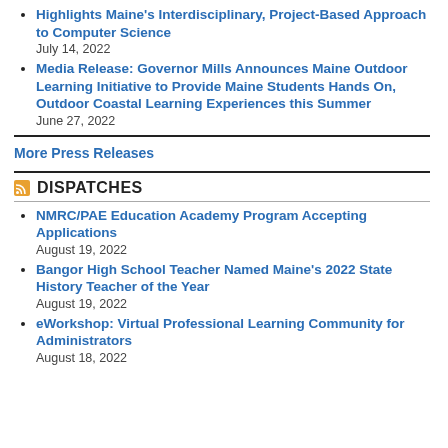Highlights Maine's Interdisciplinary, Project-Based Approach to Computer Science
July 14, 2022
Media Release: Governor Mills Announces Maine Outdoor Learning Initiative to Provide Maine Students Hands On, Outdoor Coastal Learning Experiences this Summer
June 27, 2022
More Press Releases
DISPATCHES
NMRC/PAE Education Academy Program Accepting Applications
August 19, 2022
Bangor High School Teacher Named Maine's 2022 State History Teacher of the Year
August 19, 2022
eWorkshop: Virtual Professional Learning Community for Administrators
August 18, 2022